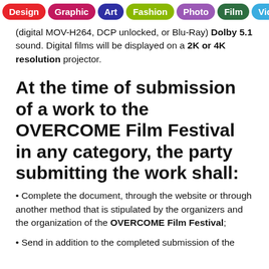Design | Graphic | Art | Fashion | Photo | Film | Video | Music
(digital MOV-H264, DCP unlocked, or Blu-Ray) Dolby 5.1 sound. Digital films will be displayed on a 2K or 4K resolution projector.
At the time of submission of a work to the OVERCOME Film Festival in any category, the party submitting the work shall:
• Complete the document, through the website or through another method that is stipulated by the organizers and the organization of the OVERCOME Film Festival;
• Send in addition to the completed submission of the